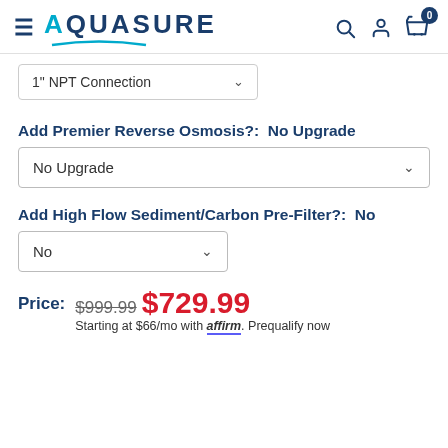[Figure (logo): Aquasure logo with hamburger menu icon on the left and search, account, cart icons on the right]
1" NPT Connection
Add Premier Reverse Osmosis?: No Upgrade
No Upgrade
Add High Flow Sediment/Carbon Pre-Filter?: No
No
Price: $999.99 $729.99 Starting at $66/mo with affirm. Prequalify now